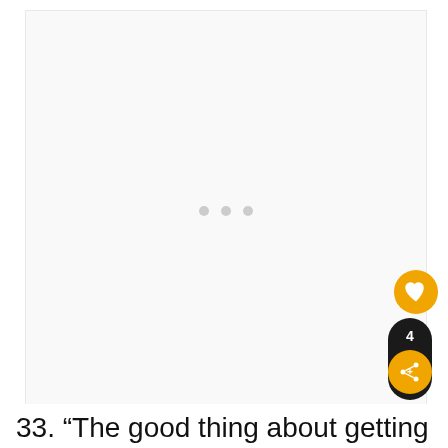[Figure (screenshot): Loading placeholder area with three grey dots in the center, representing a web page image that is still loading.]
[Figure (infographic): Social sharing widget with a heart (like) button in orange, a share count of 4 in a dark pill, and an orange share button below. Also includes a 'What's Next' card showing a person thumbnail, orange arrow label, and text 'Uncertainty Quotes Abo...']
33. “The good thing about getting